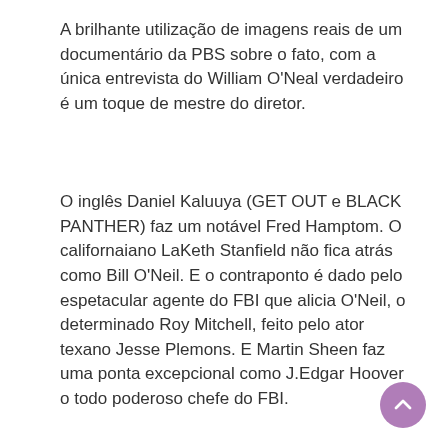A brilhante utilização de imagens reais de um documentário da PBS sobre o fato, com a única entrevista do William O'Neal verdadeiro é um toque de mestre do diretor.
O inglês Daniel Kaluuya (GET OUT e BLACK PANTHER) faz um notável Fred Hamptom. O californaiano LaKeth Stanfield não fica atrás como Bill O'Neil. E o contraponto é dado pelo espetacular agente do FBI que alicia O'Neil, o determinado Roy Mitchell, feito pelo ator texano Jesse Plemons. E Martin Sheen faz uma ponta excepcional como J.Edgar Hoover o todo poderoso chefe do FBI.
[Figure (other): Purple circular scroll-to-top button with upward chevron arrow icon, positioned at the bottom-right corner of the page.]